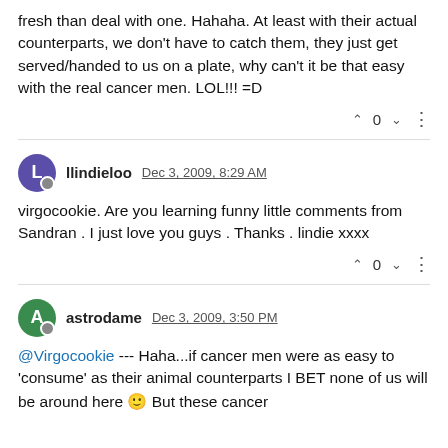fresh than deal with one. Hahaha. At least with their actual counterparts, we don't have to catch them, they just get served/handed to us on a plate, why can't it be that easy with the real cancer men. LOL!!! =D
llindieloo  Dec 3, 2009, 8:29 AM
virgocookie. Are you learning funny little comments from Sandran . I just love you guys . Thanks . lindie xxxx
astrodame  Dec 3, 2009, 3:50 PM
@Virgocookie --- Haha...if cancer men were as easy to 'consume' as their animal counterparts I BET none of us will be around here 🙂 But these cancer